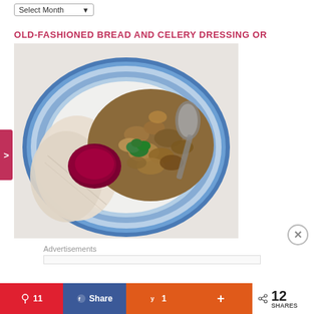Select Month
OLD-FASHIONED BREAD AND CELERY DRESSING OR STUFFING
[Figure (photo): A blue and white decorative plate with sliced turkey breast, cranberry sauce, fresh parsley garnish, and bread stuffing/dressing, with a serving spoon visible.]
Advertisements
11  Share  1  +  < 12 SHARES